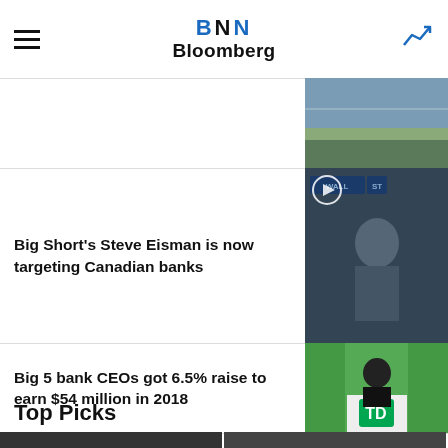BNN Bloomberg
[Figure (photo): Partial news article thumbnail at top, landscape/nature scene]
Big Short's Steve Eisman is now targeting Canadian banks
[Figure (photo): Man in interview setting with Wall St sign in background, video play button overlay]
Big 5 bank CEOs got 6.5% raise to earn $54 million in 2018
[Figure (photo): Man at TD Bank podium with green background, video play button overlay]
Top Picks
[Figure (photo): Two video thumbnail previews at bottom showing people, with play button overlays]